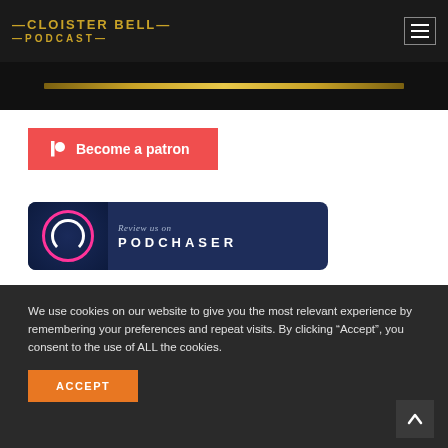CLOISTER BELL PODCAST
[Figure (other): Partial view of a gold bar/line on dark background — top portion of podcast episode image]
[Figure (other): Patreon button — red/coral background with Patreon icon and text 'Become a patron']
[Figure (other): Podchaser review banner — dark navy background with Cloister Bell Podcast logo and 'Review us on PODCHASER' text]
We use cookies on our website to give you the most relevant experience by remembering your preferences and repeat visits. By clicking “Accept”, you consent to the use of ALL the cookies.
ACCEPT